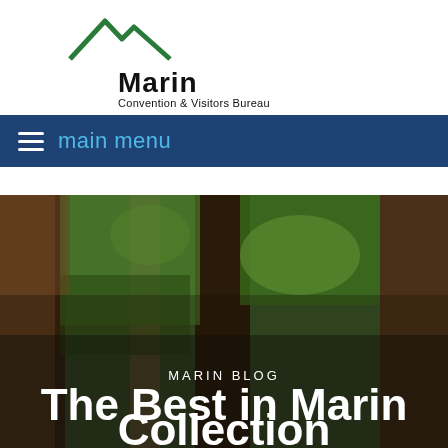[Figure (logo): Marin Convention & Visitors Bureau logo with mountain peak icon in green and black text]
main menu
[Figure (photo): Looking up through tall redwood trees in a forest, with sunlight filtering through green foliage. Text overlay reads 'MARIN BLOG' and 'The Best in Marin Collection']